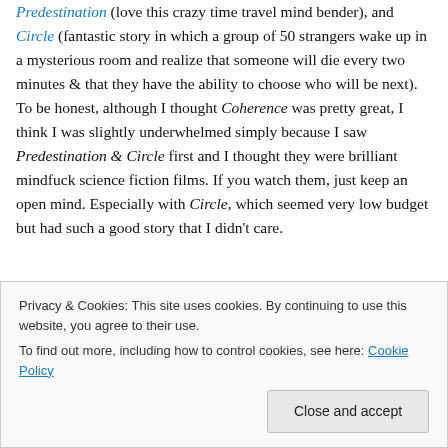Predestination (love this crazy time travel mind bender), and Circle (fantastic story in which a group of 50 strangers wake up in a mysterious room and realize that someone will die every two minutes & that they have the ability to choose who will be next). To be honest, although I thought Coherence was pretty great, I think I was slightly underwhelmed simply because I saw Predestination & Circle first and I thought they were brilliant mindfuck science fiction films. If you watch them, just keep an open mind. Especially with Circle, which seemed very low budget but had such a good story that I didn't care.
Privacy & Cookies: This site uses cookies. By continuing to use this website, you agree to their use. To find out more, including how to control cookies, see here: Cookie Policy